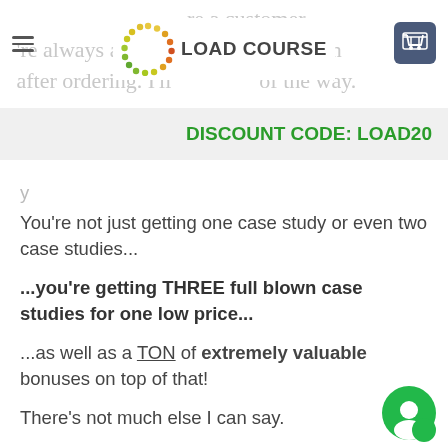Load Course — navigation header with discount code LOAD20
You’re not just getting one case study or even two case studies...
...you’re getting THREE full blown case studies for one low price...
...as well as a TON of extremely valuable bonuses on top of that!
There’s not much else I can say.
You have two choices right now: